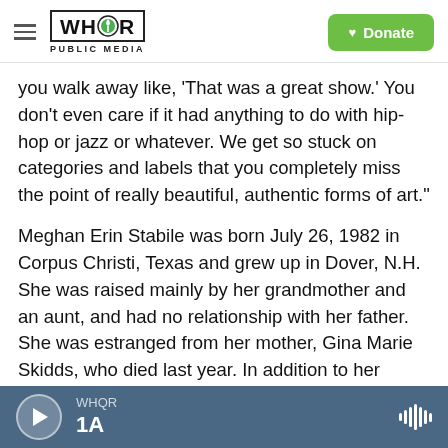[Figure (logo): WHQR Public Media logo with hamburger menu icon and green Donate button]
you walk away like, 'That was a great show.' You don't even care if it had anything to do with hip-hop or jazz or whatever. We get so stuck on categories and labels that you completely miss the point of really beautiful, authentic forms of art."
Meghan Erin Stabile was born July 26, 1982 in Corpus Christi, Texas and grew up in Dover, N.H. She was raised mainly by her grandmother and an aunt, and had no relationship with her father. She was estranged from her mother, Gina Marie Skidds, who died last year. In addition to her grandmother, she is survived by a sister, Caitlin Chaloux, and a
WHQR  1A